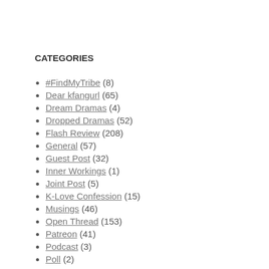CATEGORIES
#FindMyTribe (8)
Dear kfangurl (65)
Dream Dramas (4)
Dropped Dramas (52)
Flash Review (208)
General (57)
Guest Post (32)
Inner Workings (1)
Joint Post (5)
K-Love Confession (15)
Musings (46)
Open Thread (153)
Patreon (41)
Podcast (3)
Poll (2)